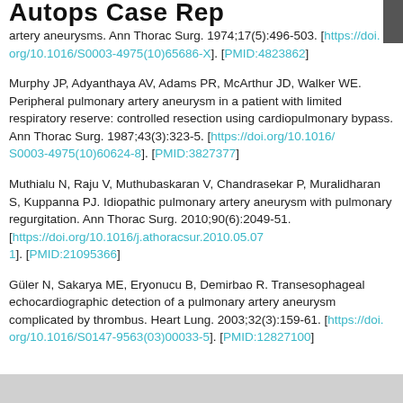Autops Case Rep
artery aneurysms. Ann Thorac Surg. 1974;17(5):496-503. [https://doi.org/10.1016/S0003-4975(10)65686-X]. [PMID:4823862]
Murphy JP, Adyanthaya AV, Adams PR, McArthur JD, Walker WE. Peripheral pulmonary artery aneurysm in a patient with limited respiratory reserve: controlled resection using cardiopulmonary bypass. Ann Thorac Surg. 1987;43(3):323-5. [https://doi.org/10.1016/S0003-4975(10)60624-8]. [PMID:3827377]
Muthialu N, Raju V, Muthubaskaran V, Chandrasekar P, Muralidharan S, Kuppanna PJ. Idiopathic pulmonary artery aneurysm with pulmonary regurgitation. Ann Thorac Surg. 2010;90(6):2049-51. [https://doi.org/10.1016/j.athoracsur.2010.05.071]. [PMID:21095366]
Güler N, Sakarya ME, Eryonucu B, Demirbao R. Transesophageal echocardiographic detection of a pulmonary artery aneurysm complicated by thrombus. Heart Lung. 2003;32(3):159-61. [https://doi.org/10.1016/S0147-9563(03)00033-5]. [PMID:12827100]